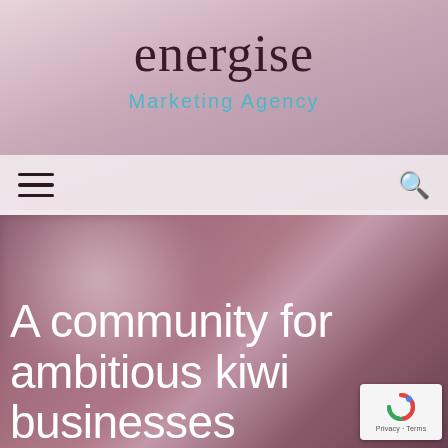energise
Marketing Agency
[Figure (screenshot): Mobile website screenshot of Energise Marketing Agency homepage with blurred background photo of a person and large white hero text]
A community for ambitious kiwi businesses